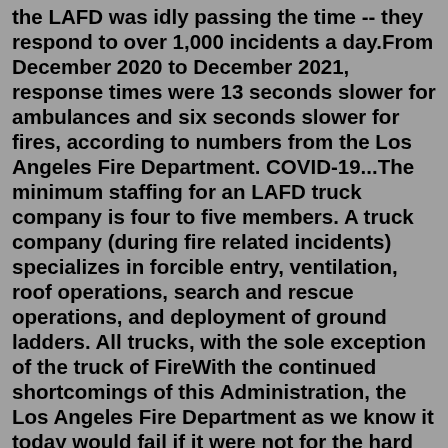the LAFD was idly passing the time -- they respond to over 1,000 incidents a day.From December 2020 to December 2021, response times were 13 seconds slower for ambulances and six seconds slower for fires, according to numbers from the Los Angeles Fire Department. COVID-19...The minimum staffing for an LAFD truck company is four to five members. A truck company (during fire related incidents) specializes in forcible entry, ventilation, roof operations, search and rescue operations, and deployment of ground ladders. All trucks, with the sole exception of the truck of FireWith the continued shortcomings of this Administration, the Los Angeles Fire Department as we know it today would fail if it were not for the hard work of the rank and file. ... The plan covered several topics including a summary of the current staffing model, Sworn LAFD Dispatcher selection process, The FLSA lawsuit, ROSS Dispatch and the need ...city officials have previously raised concerns about the fire